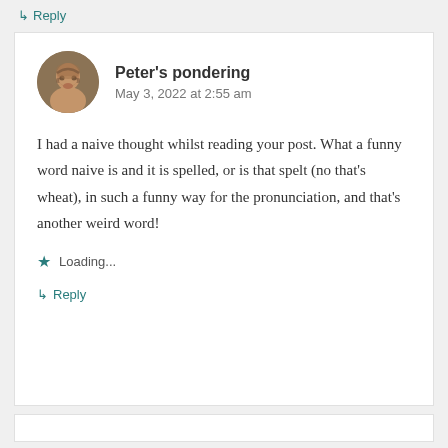↳ Reply
Peter's pondering
May 3, 2022 at 2:55 am
I had a naive thought whilst reading your post. What a funny word naive is and it is spelled, or is that spelt (no that's wheat), in such a funny way for the pronunciation, and that's another weird word!
Loading...
↳ Reply